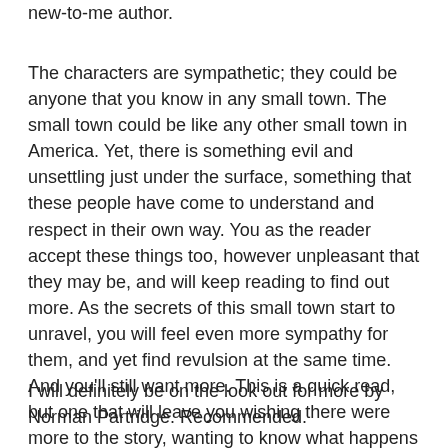new-to-me author.
The characters are sympathetic; they could be anyone that you know in any small town. The small town could be like any other small town in America. Yet, there is something evil and unsettling just under the surface, something that these people have come to understand and respect in their own way. You as the reader accept these things too, however unpleasant that they may be, and will keep reading to find out more. As the secrets of this small town start to unravel, you will feel even more sympathy for them, and yet find revulsion at the same time. And you'll still want more. This is a quick read, but one that will leave you wishing there were more to the story, wanting to know what happens next, what the ultimate fate of the October Boy and this small town will be.
I will definitely be on the look out for more by Norman Partridge. Recommended.